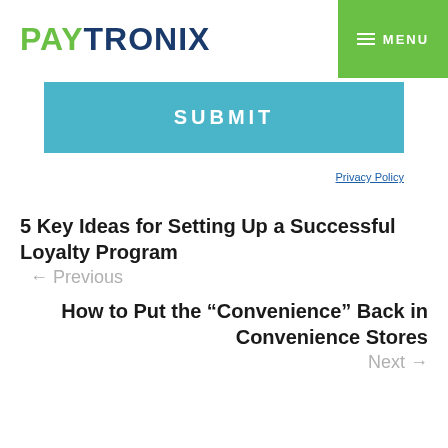PAYTRONIX | MENU
[Figure (screenshot): SUBMIT button in teal/cyan color]
Privacy Policy
5 Key Ideas for Setting Up a Successful Loyalty Program
← Previous
How to Put the “Convenience” Back in Convenience Stores
Next →